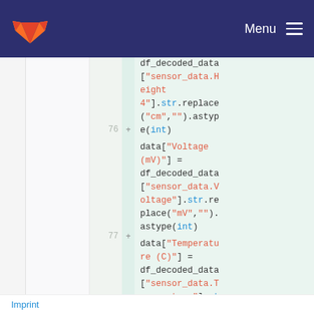GitLab logo | Menu
df_decoded_data["sensor_data.Height4"].str.replace("cm","").astype(int)
76 + data["Voltage (mV)"] = df_decoded_data["sensor_data.Voltage"].str.replace("mV","").astype(int)
77 + data["Temperature (C)"] = df_decoded_data["sensor_data.Temperature"].st
Imprint